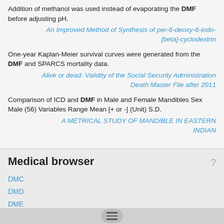Addition of methanol was used instead of evaporating the DMF before adjusting pH.
An Improved Method of Synthesis of per-6-deoxy-6-iodo-[beta]-cyclodextrin
One-year Kaplan-Meier survival curves were generated from the DMF and SPARCS mortality data.
Alive or dead: Validity of the Social Security Administration Death Master File after 2011
Comparison of ICD and DMF in Male and Female Mandibles Sex Male (56) Variables Range Mean [+ or -] (Unit) S.D.
A METRICAL STUDY OF MANDIBLE IN EASTERN INDIAN
Medical browser
DMC
DMD
DME
DmedRehab
DMERC
dmf